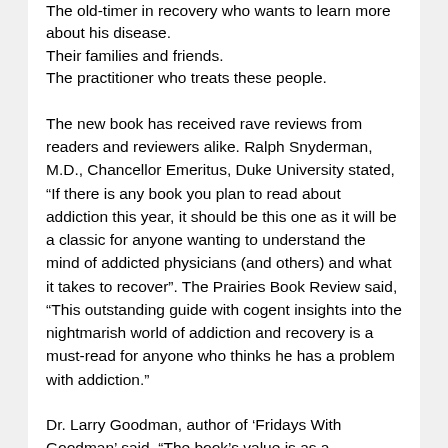The old-timer in recovery who wants to learn more about his disease.
Their families and friends.
The practitioner who treats these people.
The new book has received rave reviews from readers and reviewers alike. Ralph Snyderman, M.D., Chancellor Emeritus, Duke University stated, “If there is any book you plan to read about addiction this year, it should be this one as it will be a classic for anyone wanting to understand the mind of addicted physicians (and others) and what it takes to recover”. The Prairies Book Review said, “This outstanding guide with cogent insights into the nightmarish world of addiction and recovery is a must-read for anyone who thinks he has a problem with addiction.”
Dr. Larry Goodman, author of ‘Fridays With Goodman’ said, “The book’s value is as a